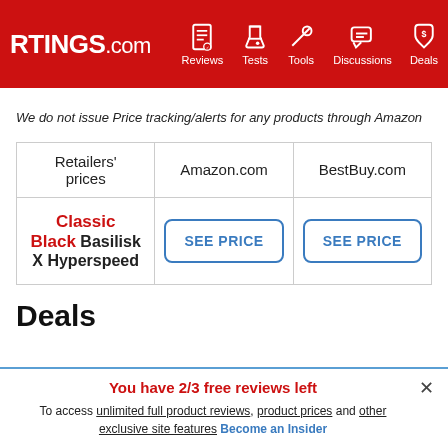RTINGS.com | Reviews | Tests | Tools | Discussions | Deals
We do not issue Price tracking/alerts for any products through Amazon
| Retailers' prices | Amazon.com | BestBuy.com |
| --- | --- | --- |
| Classic Black Basilisk X Hyperspeed | SEE PRICE | SEE PRICE |
Deals
You have 2/3 free reviews left
To access unlimited full product reviews, product prices and other exclusive site features Become an Insider